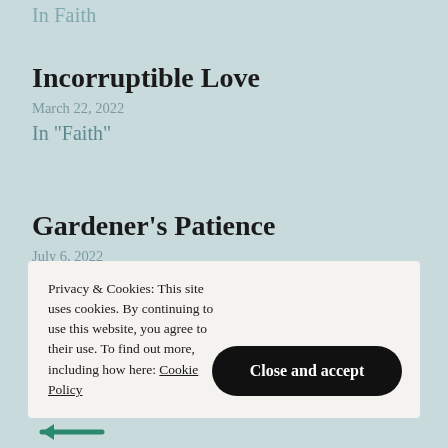In Faith
Incorruptible Love
March 22, 2022
In "Faith"
Gardener's Patience
July 6, 2022
In "Faith"
Privacy & Cookies: This site uses cookies. By continuing to use this website, you agree to their use. To find out more, including how here: Cookie Policy
Close and accept